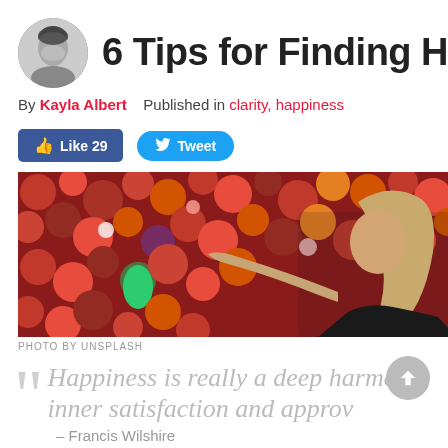6 Tips for Finding H
By Kayla Albert  Published in clarity, happiness
[Figure (photo): Circular black-and-white portrait photo of a smiling woman]
[Figure (screenshot): Facebook Like button showing 29 likes and Twitter Tweet button]
[Figure (photo): Woman with long hair smiling, arms outstretched against a wall of colorful flowers in reds, pinks, oranges]
PHOTO BY UNSPLASH
Happiness is really a deep harmon... inner satisfaction and approv...
– Francis Wilshire